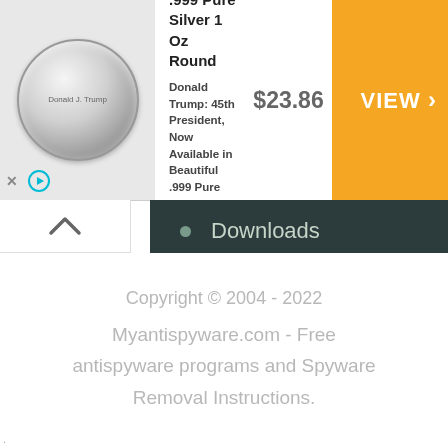[Figure (other): Advertisement banner for President Trump .999 Pure Silver 1 Oz Round coin showing a silver coin image, product title, description text, price $23.86, and an orange VIEW button. Ad controls (X and play button) visible at bottom left.]
Downloads
Instructions
Questions and Answers
Free Malware Removal Tools
Copyright © 2004 - 2022

Myantispyware.com - Free

antispyware programs and Spyware

Removal Instructions.